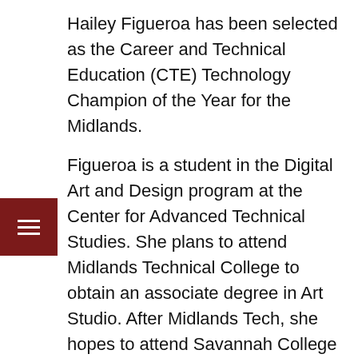Hailey Figueroa has been selected as the Career and Technical Education (CTE) Technology Champion of the Year for the Midlands.
Figueroa is a student in the Digital Art and Design program at the Center for Advanced Technical Studies. She plans to attend Midlands Technical College to obtain an associate degree in Art Studio. After Midlands Tech, she hopes to attend Savannah College of Art and Design (SCAD) to obtain a bachelor's degree in Interactive Design and Game Development.
“I feel extremely honored and fortunate to be receiving this award,” Figueroa said. “This award really means a lot to me, and It proves to me that